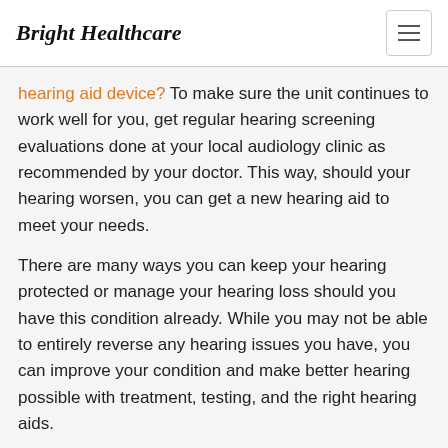Bright Healthcare
hearing aid device? To make sure the unit continues to work well for you, get regular hearing screening evaluations done at your local audiology clinic as recommended by your doctor. This way, should your hearing worsen, you can get a new hearing aid to meet your needs.
There are many ways you can keep your hearing protected or manage your hearing loss should you have this condition already. While you may not be able to entirely reverse any hearing issues you have, you can improve your condition and make better hearing possible with treatment, testing, and the right hearing aids.